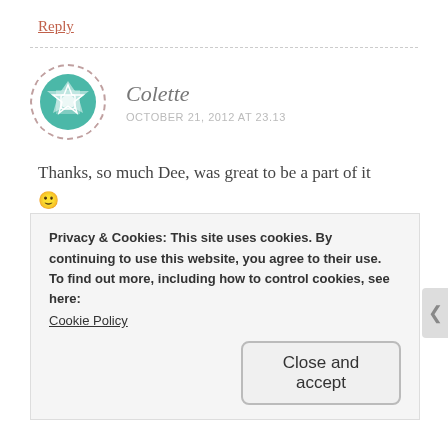Reply
Colette
OCTOBER 21, 2012 AT 23.13
Thanks, so much Dee, was great to be a part of it 🙂
★ Like
Reply
Privacy & Cookies: This site uses cookies. By continuing to use this website, you agree to their use.
To find out more, including how to control cookies, see here:
Cookie Policy
Close and accept